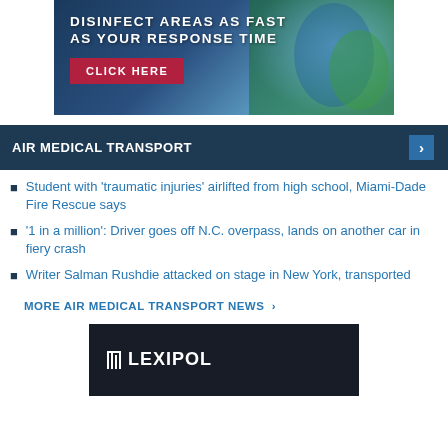[Figure (photo): Advertisement banner: 'DISINFECT AREAS AS FAST AS YOUR RESPONSE TIME' with a CLICK HERE button, showing a person in blue gear with a green backpack sprayer.]
AIR MEDICAL TRANSPORT
Student with 'traumatic injuries' airlifted from high school, Miami-Dade Fire Rescue says
'1 in a million': Driver goes off N.C. overpass, lands on another car in fiery crash
Writer Salman Rushdie attacked on stage in New York, transported
MORE AIR MEDICAL TRANSPORT NEWS >
[Figure (logo): Lexipol advertisement banner with logo on dark background.]